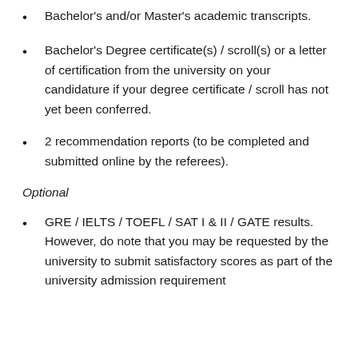Bachelor's and/or Master's academic transcripts.
Bachelor's Degree certificate(s) / scroll(s) or a letter of certification from the university on your candidature if your degree certificate / scroll has not yet been conferred.
2 recommendation reports (to be completed and submitted online by the referees).
Optional
GRE / IELTS / TOEFL / SAT I & II / GATE results. However, do note that you may be requested by the university to submit satisfactory scores as part of the university admission requirement